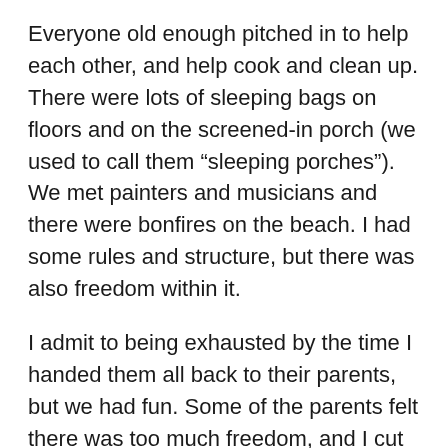Everyone old enough pitched in to help each other, and help cook and clean up. There were lots of sleeping bags on floors and on the screened-in porch (we used to call them “sleeping porches”). We met painters and musicians and there were bonfires on the beach. I had some rules and structure, but there was also freedom within it.
I admit to being exhausted by the time I handed them all back to their parents, but we had fun. Some of the parents felt there was too much freedom, and I cut them right off. They all dumped their kids on me without warning, without discussion, without any kind of support. I kept them fed, happy, and alive. So the parents could shut the hell up. One father complained I’d turned his kids into “lefty feminists.” I’m rather proud of that.
Anyway, I have a lot on my agenda today, and I better get